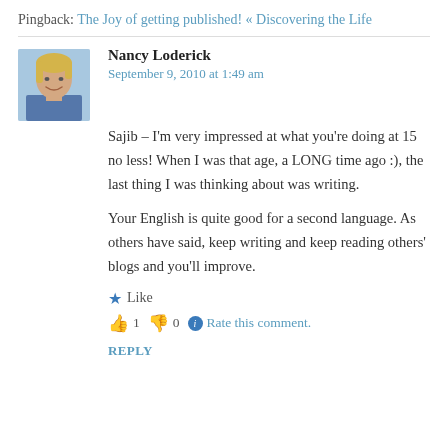Pingback: The Joy of getting published! « Discovering the Life
[Figure (photo): Profile photo of Nancy Loderick, a woman with blonde hair, smiling, wearing a blue top]
Nancy Loderick
September 9, 2010 at 1:49 am
Sajib – I'm very impressed at what you're doing at 15 no less! When I was that age, a LONG time ago :), the last thing I was thinking about was writing.
Your English is quite good for a second language. As others have said, keep writing and keep reading others' blogs and you'll improve.
★ Like
👍 1  👎 0  ℹ Rate this comment.
REPLY